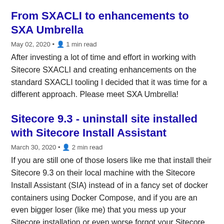From SXACLI to enhancements to SXA Umbrella
May 02, 2020 • ☰ 1 min read
After investing a lot of time and effort in working with Sitecore SXACLI and creating enhancements on the standard SXACLI tooling I decided that it was time for a different approach. Please meet SXA Umbrella!
Sitecore 9.3 - uninstall site installed with Sitecore Install Assistant
March 30, 2020 • ☰ 2 min read
If you are still one of those losers like me that install their Sitecore 9.3 on their local machine with the Sitecore Install Assistant (SIA) instead of in a fancy set of docker containers using Docker Compose, and if you are an even bigger loser (like me) that you mess up your Sitecore installation or even worse forgot your Sitecore